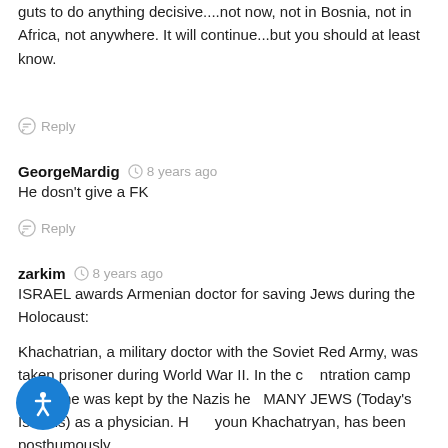guts to do anything decisive....not now, not in Bosnia, not in Africa, not anywhere. It will continue...but you should at least know.
Reply
GeorgeMardig · 8 years ago
He dosn't give a FK
Reply
zarkim · 8 years ago
ISRAEL awards Armenian doctor for saving Jews during the Holocaust:
.
Khachatrian, a military doctor with the Soviet Red Army, was taken prisoner during World War II. In the concentration camp where he was kept by the Nazis he MANY JEWS (Today's Israelis) as a physician. Harutyoun Khachatryan, has been posthumously